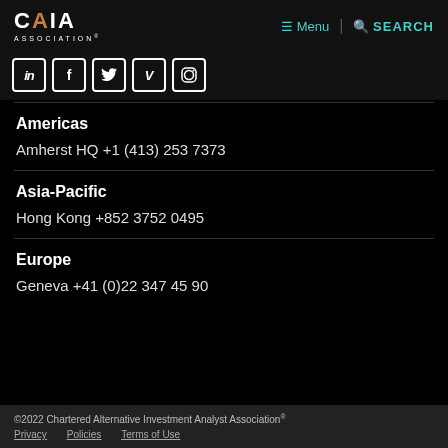CAIA ASSOCIATION — Menu | SEARCH
[Figure (other): Social media icons row: LinkedIn, Facebook, Twitter, Vimeo, Instagram]
Americas
Amherst HQ +1 (413) 253 7373
Asia-Pacific
Hong Kong +852 3752 0495
Europe
Geneva +41 (0)22 347 45 90
©2022 Chartered Alternative Investment Analyst Association® Privacy   Policies   Terms of Use